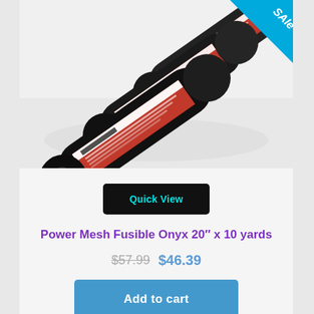[Figure (photo): Three rolls of Power Mesh Fusible Onyx fabric, black cylindrical rolls with red and white labels reading 'FLORIANI Power Mesh Fusible', arranged diagonally. A blue triangular 'SALE' badge is in the top-right corner.]
Quick View
Power Mesh Fusible Onyx 20″ x 10 yards
$57.99  $46.39
Add to cart